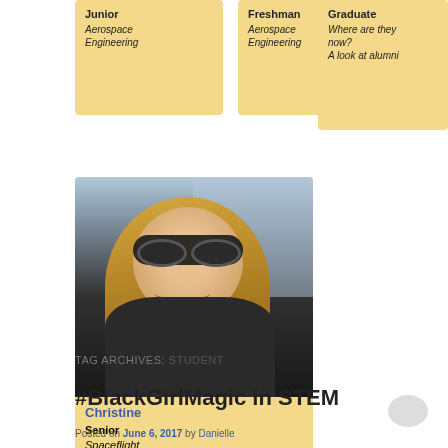[Figure (other): Card showing Junior, Aerospace Engineering]
[Figure (other): Card showing Freshman, Aerospace Engineering]
[Figure (other): Card showing Graduate - Where are they now? A look at alumni]
[Figure (photo): Photo of Christine, a young woman with blonde hair and sunglasses sitting in a car, smiling]
Christine
Senior
Spaceflight Operations
TAG ARCHIVES: STUDENT
#BlackGirlMagic in STEM
Posted on June 6, 2017 by Danielle